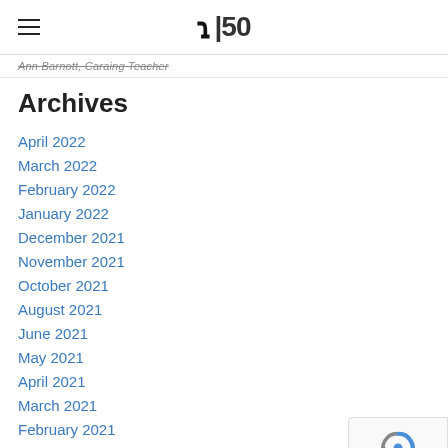R|50
Ann Barnott, Caraing Teacher
Archives
April 2022
March 2022
February 2022
January 2022
December 2021
November 2021
October 2021
August 2021
June 2021
May 2021
April 2021
March 2021
February 2021
January 2021
December 2020